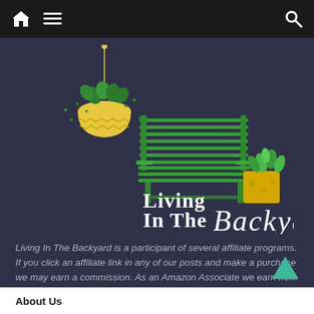Navigation bar with home, menu, and search icons
[Figure (logo): Living In The Backyard logo featuring a hanging basket plant, a green garden bench, and a potted succulent plant, with the text 'Living In The Backyard' in mixed serif and script fonts]
Living In The Backyard is a participant of several affiliate programs. If you click an affiliate link in any of our posts and make a purchase we may earn a commission. As an Amazon Associate we earn from qualifying purchases.
About Us